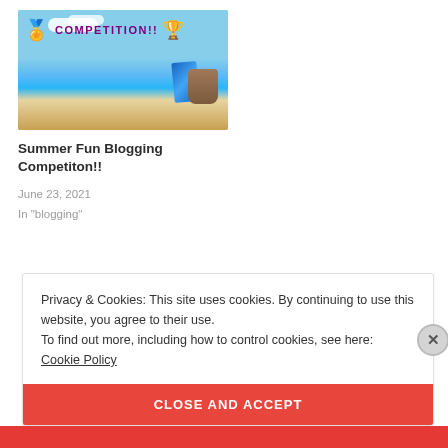[Figure (photo): Blog post thumbnail showing a beach scene with 'COMPETITION!!' text, a medal ribbon icon on the left and a trophy on the right, ocean and sand with beach towel and basket.]
Summer Fun Blogging Competiton!!
June 23, 2021
In "blogging"
Privacy & Cookies: This site uses cookies. By continuing to use this website, you agree to their use.
To find out more, including how to control cookies, see here:
Cookie Policy
CLOSE AND ACCEPT